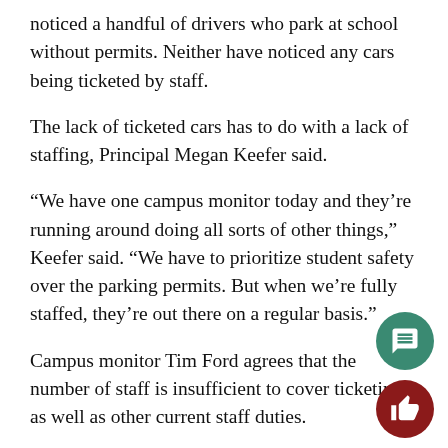noticed a handful of drivers who park at school without permits. Neither have noticed any cars being ticketed by staff.
The lack of ticketed cars has to do with a lack of staffing, Principal Megan Keefer said.
“We have one campus monitor today and they’re running around doing all sorts of other things,” Keefer said. “We have to prioritize student safety over the parking permits. But when we’re fully staffed, they’re out there on a regular basis.”
Campus monitor Tim Ford agrees that the number of staff is insufficient to cover ticketing as well as other current staff duties.
“Sometimes these days, we don’t even have time,” Fo said. “We’re running around the school and checking classrooms and helping the teachers that are missing.”